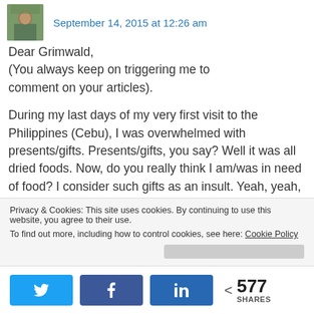September 14, 2015 at 12:26 am
Dear Grimwald,
(You always keep on triggering me to comment on your articles).
During my last days of my very first visit to the Philippines (Cebu), I was overwhelmed with presents/gifts. Presents/gifts, you say? Well it was all dried foods. Now, do you really think I am/was in need of food? I consider such gifts as an insult. Yeah, yeah, I know for people in your country, thats the only thing
Privacy & Cookies: This site uses cookies. By continuing to use this website, you agree to their use.
To find out more, including how to control cookies, see here: Cookie Policy
577 SHARES